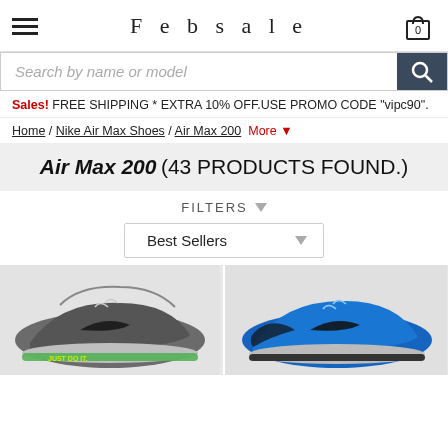Febsale
Search by name or model
Sales! FREE SHIPPING * EXTRA 10% OFF.USE PROMO CODE "vipc90".
Home / Nike Air Max Shoes / Air Max 200  More ▼
Air Max 200  (43 PRODUCTS FOUND.)
FILTERS ▼
Best Sellers
[Figure (photo): Two Nike Air Max 200 sneakers shown side by side: left shoe is grey/dark with green Just Do It text; right shoe is bright blue/black.]